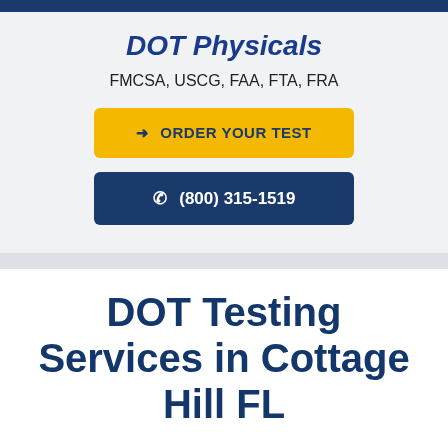DOT Physicals
FMCSA, USCG, FAA, FTA, FRA
→ ORDER YOUR TEST
☎ (800) 315-1519
DOT Testing Services in Cottage Hill FL